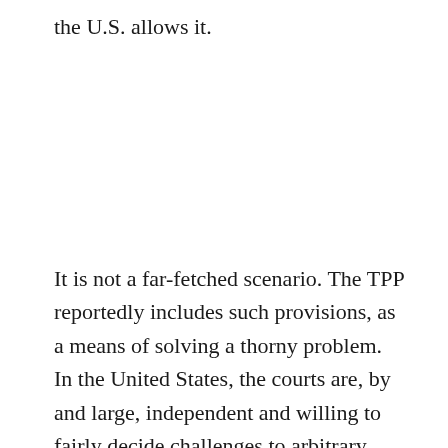the U.S. allows it.
It is not a far-fetched scenario. The TPP reportedly includes such provisions, as a means of solving a thorny problem. In the United States, the courts are, by and large, independent and willing to fairly decide challenges to arbitrary government laws and policies on matters where the plaintiff is. The court is